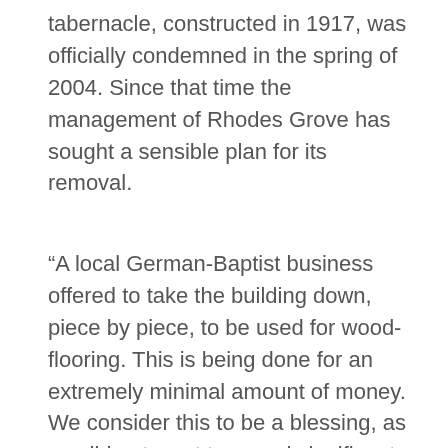tabernacle, constructed in 1917, was officially condemned in the spring of 2004. Since that time the management of Rhodes Grove has sought a sensible plan for its removal.
“A local German-Baptist business offered to take the building down, piece by piece, to be used for wood-flooring. This is being done for an extremely minimal amount of money. We consider this to be a blessing, as we did not want to spend significant dollars on removing the Tabernacle. The removal process should be completed with